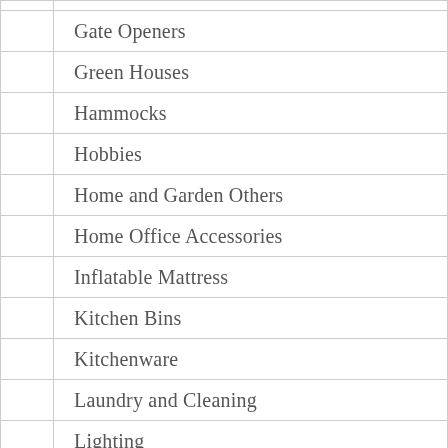| Gate Openers |
| Green Houses |
| Hammocks |
| Hobbies |
| Home and Garden Others |
| Home Office Accessories |
| Inflatable Mattress |
| Kitchen Bins |
| Kitchenware |
| Laundry and Cleaning |
| Lighting |